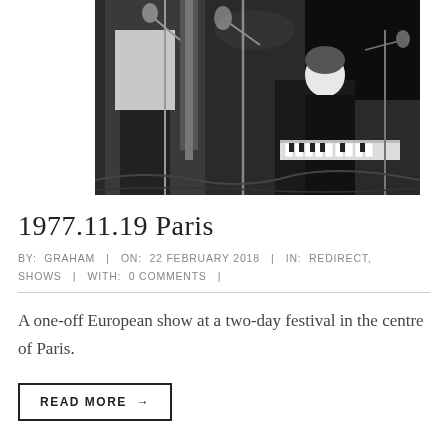[Figure (photo): Black and white photograph of musicians performing on stage with microphone stands and instruments visible, a musician playing keyboard in the background]
1977.11.19 Paris
BY: GRAHAM | ON: 22 FEBRUARY 2018 | IN: REDIRECT, SHOWS | WITH: 0 COMMENTS |
A one-off European show at a two-day festival in the centre of Paris.
READ MORE →